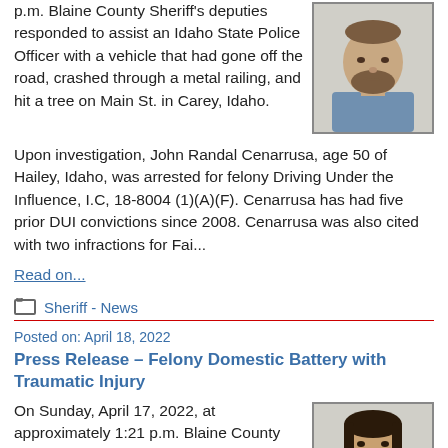p.m. Blaine County Sheriff's deputies responded to assist an Idaho State Police Officer with a vehicle that had gone off the road, crashed through a metal railing, and hit a tree on Main St. in Carey, Idaho.
[Figure (photo): Mugshot of John Randal Cenarrusa, a middle-aged bearded man in a blue shirt]
Upon investigation, John Randal Cenarrusa, age 50 of Hailey, Idaho, was arrested for felony Driving Under the Influence, I.C, 18-8004 (1)(A)(F). Cenarrusa has had five prior DUI convictions since 2008. Cenarrusa was also cited with two infractions for Fai...
Read on...
Sheriff - News
Posted on: April 18, 2022
Press Release – Felony Domestic Battery with Traumatic Injury
On Sunday, April 17, 2022, at approximately 1:21 p.m. Blaine County Sheriff's deputies responded to a report
[Figure (photo): Mugshot of a woman with dark hair]